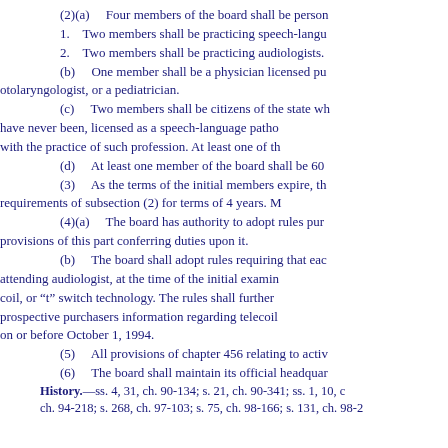(2)(a)    Four members of the board shall be person
1.    Two members shall be practicing speech-langu
2.    Two members shall be practicing audiologists.
(b)    One member shall be a physician licensed pu otolaryngologist, or a pediatrician.
(c)    Two members shall be citizens of the state wh have never been, licensed as a speech-language patho with the practice of such profession. At least one of th
(d)    At least one member of the board shall be 60
(3)    As the terms of the initial members expire, th requirements of subsection (2) for terms of 4 years. M
(4)(a)    The board has authority to adopt rules pur provisions of this part conferring duties upon it.
(b)    The board shall adopt rules requiring that eac attending audiologist, at the time of the initial examin coil, or “t” switch technology. The rules shall further prospective purchasers information regarding telecoil on or before October 1, 1994.
(5)    All provisions of chapter 456 relating to activ
(6)    The board shall maintain its official headquar
History.—ss. 4, 31, ch. 90-134; s. 21, ch. 90-341; ss. 1, 10, c ch. 94-218; s. 268, ch. 97-103; s. 75, ch. 98-166; s. 131, ch. 98-2